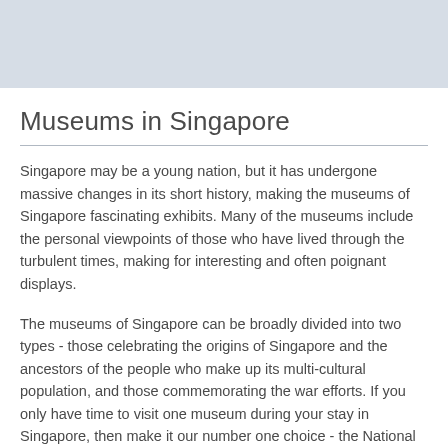[Figure (other): Light blue-grey header bar area at top of page]
Museums in Singapore
Singapore may be a young nation, but it has undergone massive changes in its short history, making the museums of Singapore fascinating exhibits. Many of the museums include the personal viewpoints of those who have lived through the turbulent times, making for interesting and often poignant displays.
The museums of Singapore can be broadly divided into two types - those celebrating the origins of Singapore and the ancestors of the people who make up its multi-cultural population, and those commemorating the war efforts. If you only have time to visit one museum during your stay in Singapore, then make it our number one choice - the National Museum of Singapore - here you will garner very